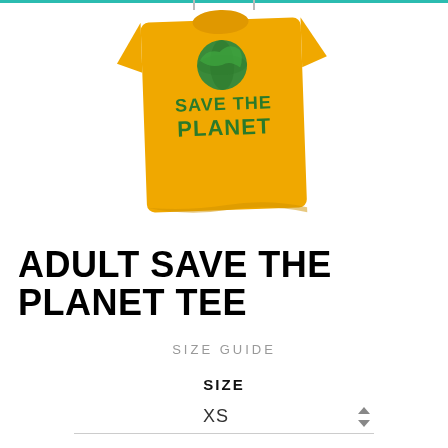[Figure (photo): Yellow/gold t-shirt hanging, with green text 'SAVE THE PLANET' and a globe graphic on the front. The shirt is partially folded/hanging showing front design.]
ADULT SAVE THE PLANET TEE
SIZE GUIDE
SIZE
XS